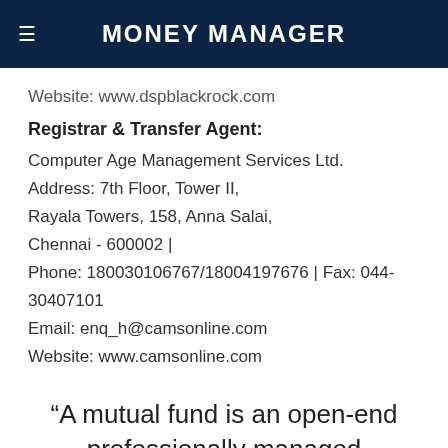Money Manager
Website: www.dspblackrock.com
Registrar & Transfer Agent:
Computer Age Management Services Ltd.
Address: 7th Floor, Tower II,
Rayala Towers, 158, Anna Salai,
Chennai - 600002 |
Phone: 180030106767/18004197676 | Fax: 044-30407101
Email: enq_h@camsonline.com
Website: www.camsonline.com
“A mutual fund is an open-end professionally managed investment fund that pools